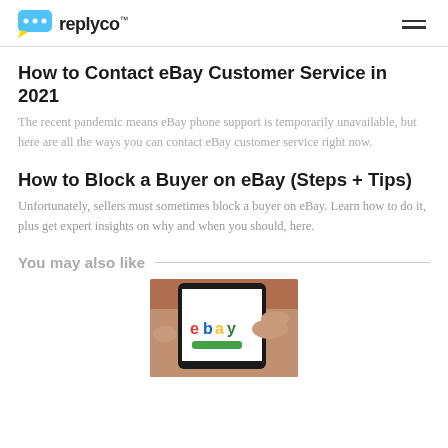replyco™
How to Contact eBay Customer Service in 2021
The recent pandemic means eBay phone support is temporarily unavailable, but here are all the ways you can contact eBay customer service right now.
How to Block a Buyer on eBay (Steps + Tips)
Unfortunately, sellers must sometimes block a buyer on eBay. Learn how to do it, plus get expert insights on why and when you should, here.
You may also like
[Figure (photo): Hand holding a smartphone displaying the eBay logo on its screen]